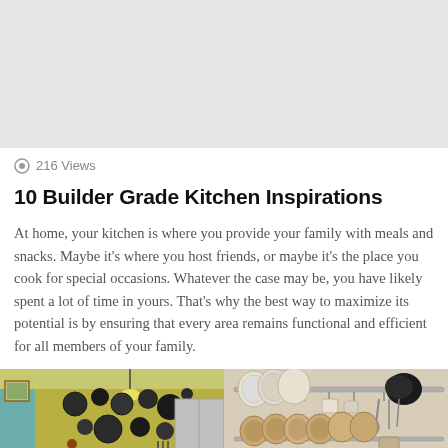[Figure (photo): Gray placeholder image banner at top of page]
216 Views
10 Builder Grade Kitchen Inspirations
At home, your kitchen is where you provide your family with meals and snacks. Maybe it's where you host friends, or maybe it's the place you cook for special occasions. Whatever the case may be, you have likely spent a lot of time in yours. That's why the best way to maximize its potential is by ensuring that every area remains functional and efficient for all members of your family.
[Figure (photo): Two side-by-side kitchen photos: left shows a kitchen with pots and pans hanging on a yellow wall above dark countertop cabinets; right shows a pot rack with plates, cups, and utensils on metal rail system]